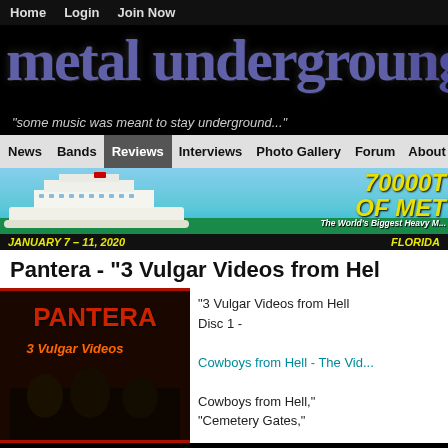Home  Login  Join Now
[Figure (logo): metal underground .com logo in stylized purple/blue grunge font on black background]
"some music was meant to stay underground..."
News  Bands  Reviews  Interviews  Photo Gallery  Forum  About Us
[Figure (photo): 70000 Tons of Metal cruise banner with cruise ship photo, JANUARY 7-11, 2020, FLORIDA]
Pantera - "3 Vulgar Videos from Hell"
[Figure (photo): Pantera 3 Vulgar Videos from Hell album cover]
"3 Vulgar Videos from Hell"
Disc 1 -

Cowboys from Hell - The Vid...

Cowboys from Hell,"
"Cemetery Gates,"